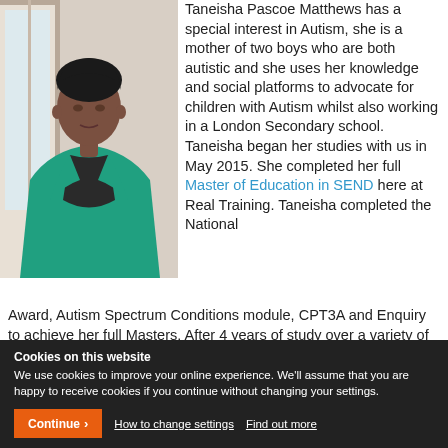[Figure (photo): Photo of Taneisha Pascoe Matthews, a woman wearing a teal/green blazer over a dark top, standing near a window]
Taneisha Pascoe Matthews has a special interest in Autism, she is a mother of two boys who are both autistic and she uses her knowledge and social platforms to advocate for children with Autism whilst also working in a London Secondary school. Taneisha began her studies with us in May 2015. She completed her full Master of Education in SEND here at Real Training. Taneisha completed the National Award, Autism Spectrum Conditions module, CPT3A and Enquiry to achieve her full Masters. After 4 years of study over a variety of modules, here is her journey through our MEd SEND programme and her thoughts on studying with Real Training.
Cookies on this website
We use cookies to improve your online experience. We'll assume that you are happy to receive cookies if you continue without changing your settings.